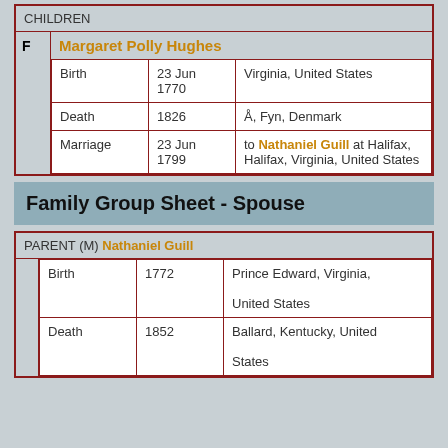| CHILDREN |
| --- |
| F | Margaret Polly Hughes |  |  |
|  | Birth | 23 Jun 1770 | Virginia, United States |
|  | Death | 1826 | Å, Fyn, Denmark |
|  | Marriage | 23 Jun 1799 | to Nathaniel Guill at Halifax, Halifax, Virginia, United States |
Family Group Sheet - Spouse
| PARENT (M) Nathaniel Guill |
| --- |
|  | Birth | 1772 | Prince Edward, Virginia, United States |
|  | Death | 1852 | Ballard, Kentucky, United States |